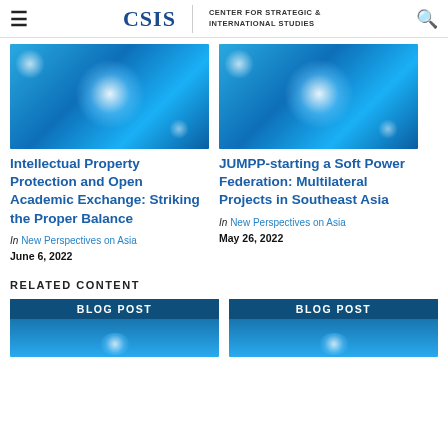CSIS | CENTER FOR STRATEGIC & INTERNATIONAL STUDIES
[Figure (photo): Blue globe with glowing light network on blue background - left card image]
Intellectual Property Protection and Open Academic Exchange: Striking the Proper Balance
In New Perspectives on Asia
June 6, 2022
[Figure (photo): Blue globe with glowing light network on blue background - right card image]
JUMPP-starting a Soft Power Federation: Multilateral Projects in Southeast Asia
In New Perspectives on Asia
May 26, 2022
RELATED CONTENT
[Figure (photo): Blog post card with dark blue header label and blue globe glow]
[Figure (photo): Blog post card with dark blue header label and blue globe glow]